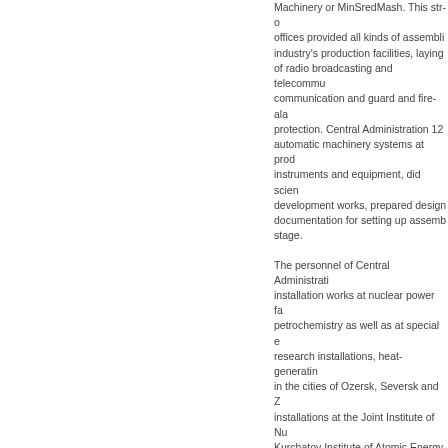Machinery or MinSredMash. This str... offices provided all kinds of assembl... industry's production facilities, laying... of radio broadcasting and telecommu... communication and guard and fire-al... protection. Central Administration 12... automatic machinery systems at prod... instruments and equipment, did scien... development works, prepared design... documentation for setting up assemb... stage.
The personnel of Central Administrati... installation works at nuclear power fa... petrochemistry as well as at special e... research installations, heat-generatin... in the cities of Ozersk, Seversk and Z... installations at the Joint Institute of N... Kurchatov Institute of Atomic Energy... Institute (Obninsk), the All-Russian S... Experimental Physics (Sarov), the All... Institute of Engineering Physics (Sne... Physics (Protvino); complexes of ass... wells to conduct nuclear tests in Sem... Central Administration 12 constructed... Ignalinskaya (Lithuania) nuclear powe... (Kazakhstan); facilities to produce me... the Tomsk chemical plant under desig... companies from Italy, Germany, Japa... and water-desalinating installations in...